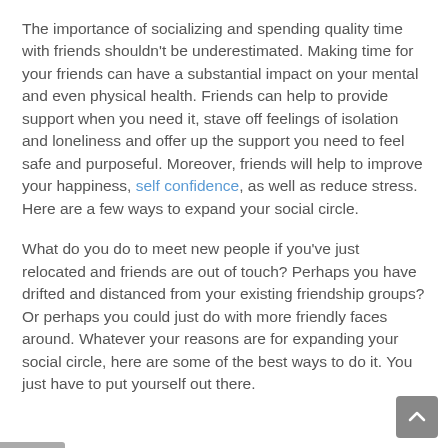The importance of socializing and spending quality time with friends shouldn't be underestimated. Making time for your friends can have a substantial impact on your mental and even physical health. Friends can help to provide support when you need it, stave off feelings of isolation and loneliness and offer up the support you need to feel safe and purposeful. Moreover, friends will help to improve your happiness, self confidence, as well as reduce stress. Here are a few ways to expand your social circle.
What do you do to meet new people if you've just relocated and friends are out of touch? Perhaps you have drifted and distanced from your existing friendship groups? Or perhaps you could just do with more friendly faces around. Whatever your reasons are for expanding your social circle, here are some of the best ways to do it. You just have to put yourself out there.